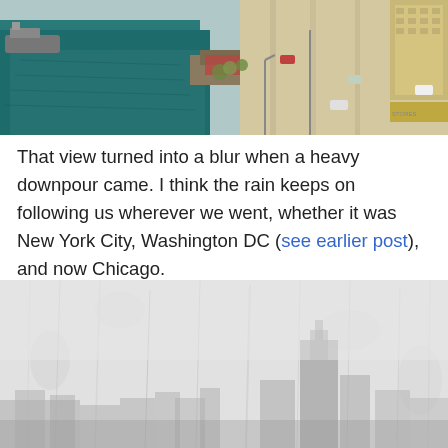[Figure (photo): Aerial view of Chicago River and surrounding city streets with buildings, cars, and a boat on the water.]
That view turned into a blur when a heavy downpour came. I think the rain keeps on following us wherever we went, whether it was New York City, Washington DC (see earlier post), and now Chicago.
[Figure (photo): Rainy, blurred view of Chicago skyline seen through a wet window, with buildings barely visible through the rain and condensation.]